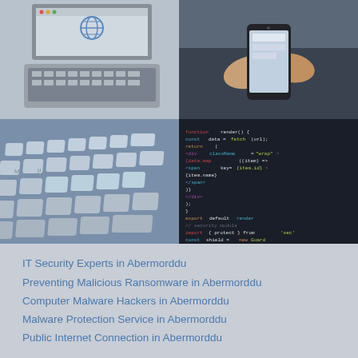[Figure (photo): Laptop computer displaying a webpage with a globe icon, shot from above at an angle, light grey/silver laptop on a desk]
[Figure (photo): Person holding a smartphone, hands visible against dark jacket, close-up shot]
[Figure (photo): Computer keyboard keys shot from a low angle, light blue/silver toned keys, close-up macro shot]
[Figure (photo): Code editor screen on dark background showing colorful syntax-highlighted source code]
IT Security Experts in Abermorddu
Preventing Malicious Ransomware in Abermorddu
Computer Malware Hackers in Abermorddu
Malware Protection Service in Abermorddu
Public Internet Connection in Abermorddu